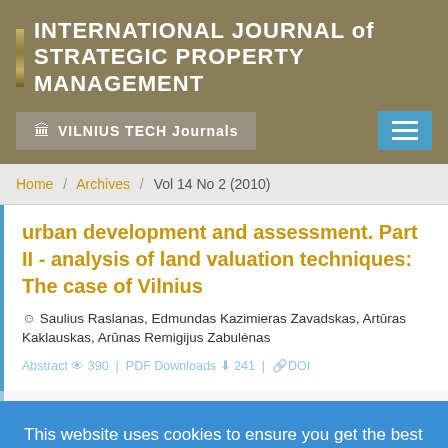INTERNATIONAL JOURNAL of STRATEGIC PROPERTY MANAGEMENT
🏛 VILNIUS TECH Journals
Home / Archives / Vol 14 No 2 (2010)
urban development and assessment. Part II - analysis of land valuation techniques: The case of Vilnius
Saulius Raslanas, Edmundas Kazimieras Zavadskas, Artūras Kaklauskas, Arūnas Remigijus Zabulėnas
Abstract 390 | PDF Downloads 241 | DOI
This website uses cookies to ensure you get the best experience on our website. Learn more
Got it!